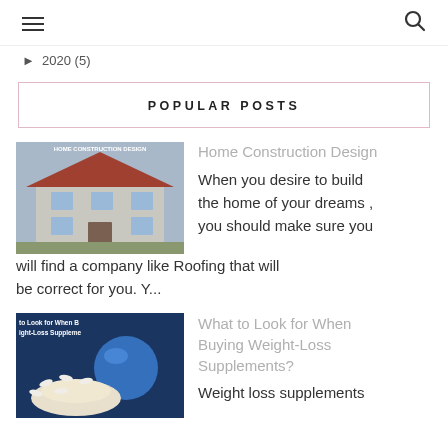☰  🔍
▸  2020 (5)
POPULAR POSTS
[Figure (photo): Home construction design – two-story house exterior render with red roof]
Home Construction Design
When you desire to build the home of your dreams , you should make sure you will find a company like Roofing that will be correct for you. Y...
[Figure (photo): Weight-loss supplements – powder and capsules on a dark background with blue ball]
What to Look for When Buying Weight-Loss Supplements?
Weight loss supplements